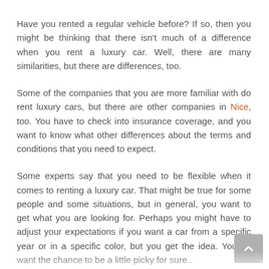Have you rented a regular vehicle before? If so, then you might be thinking that there isn't much of a difference when you rent a luxury car. Well, there are many similarities, but there are differences, too.
Some of the companies that you are more familiar with do rent luxury cars, but there are other companies in Nice, too. You have to check into insurance coverage, and you want to know what other differences about the terms and conditions that you need to expect.
Some experts say that you need to be flexible when it comes to renting a luxury car. That might be true for some people and some situations, but in general, you want to get what you are looking for. Perhaps you might have to adjust your expectations if you want a car from a specific year or in a specific color, but you get the idea. You do want the chance to be a little picky for sure .
The best in customer service should also be expected. While you do want to know everything you can find out